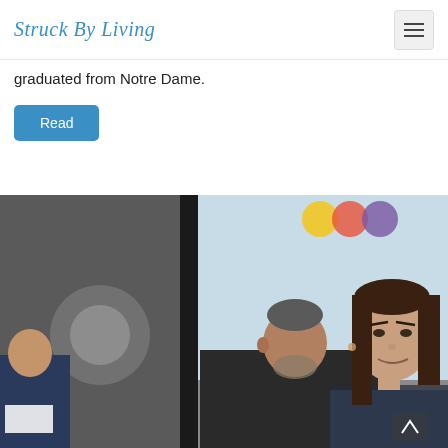Struck By Living
graduated from Notre Dame.
Read
[Figure (photo): A panel discussion or event photo showing three people: a woman with long brown hair speaking or looking forward in the foreground right, a man with gray-streaked hair and beard in the center, and another person partially visible on the far left. A large presentation screen with a light blue background and colorful logo elements is visible behind them.]